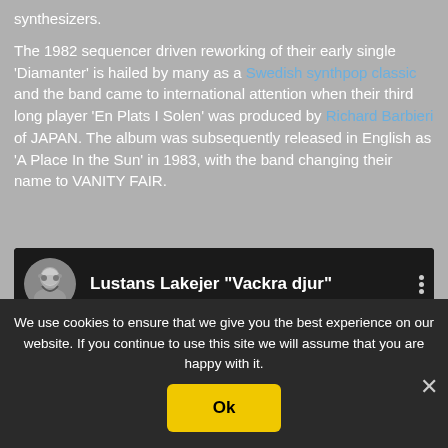synthesizers.
The 1982 sequencer driven reworking of their early single 'Diamanter' is hailed by many as a Swedish synthpop classic and the band came to international attention when their third long player 'En Plats I Solen' was produced by Richard Barbieri of JAPAN. The album was subsequently released in English as 'A Place In the Sun' in 1983, with the band changing their name to VANITY FAIR.
[Figure (screenshot): YouTube embedded video thumbnail showing 'Lustans Lakejer "Vackra djur"' with a circular avatar image of an old man and a three-dot menu icon on a dark background.]
We use cookies to ensure that we give you the best experience on our website. If you continue to use this site we will assume that you are happy with it.